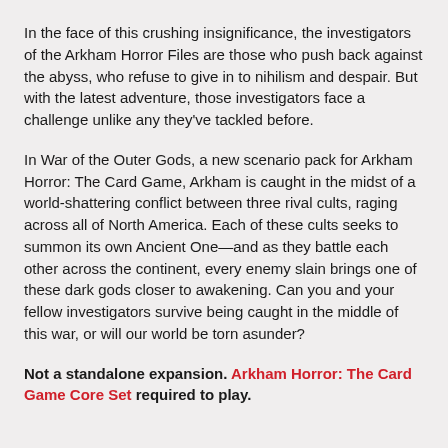In the face of this crushing insignificance, the investigators of the Arkham Horror Files are those who push back against the abyss, who refuse to give in to nihilism and despair. But with the latest adventure, those investigators face a challenge unlike any they've tackled before.
In War of the Outer Gods, a new scenario pack for Arkham Horror: The Card Game, Arkham is caught in the midst of a world-shattering conflict between three rival cults, raging across all of North America. Each of these cults seeks to summon its own Ancient One—and as they battle each other across the continent, every enemy slain brings one of these dark gods closer to awakening. Can you and your fellow investigators survive being caught in the middle of this war, or will our world be torn asunder?
Not a standalone expansion. Arkham Horror: The Card Game Core Set required to play.